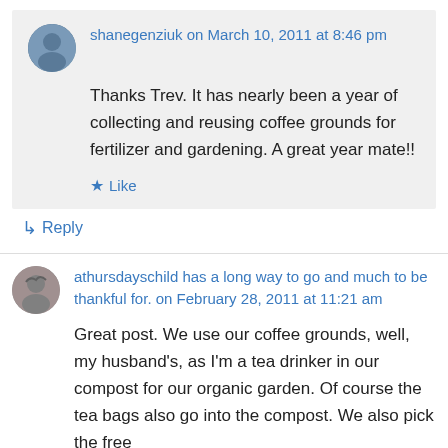shanegenziuk on March 10, 2011 at 8:46 pm
Thanks Trev. It has nearly been a year of collecting and reusing coffee grounds for fertilizer and gardening. A great year mate!!
Like
Reply
athursdayschild has a long way to go and much to be thankful for. on February 28, 2011 at 11:21 am
Great post. We use our coffee grounds, well, my husband's, as I'm a tea drinker in our compost for our organic garden. Of course the tea bags also go into the compost. We also pick the free